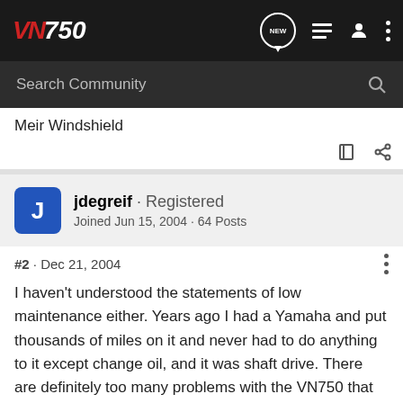VN750 — Search Community [nav bar]
Meir Windshield
jdegreif · Registered
Joined Jun 15, 2004 · 64 Posts
#2 · Dec 21, 2004
I haven't understood the statements of low maintenance either. Years ago I had a Yamaha and put thousands of miles on it and never had to do anything to it except change oil, and it was shaft drive. There are definitely too many problems with the VN750 that should have been addressed and fixed a long time ago by the factory. As for the final drive, as long as ther is gear